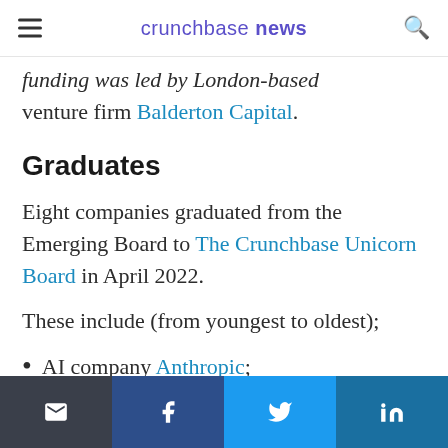crunchbase news
…funding was led by London-based venture firm Balderton Capital.
Graduates
Eight companies graduated from the Emerging Board to The Crunchbase Unicorn Board in April 2022.
These include (from youngest to oldest);
AI company Anthropic;
Share icons: email, facebook, twitter, linkedin